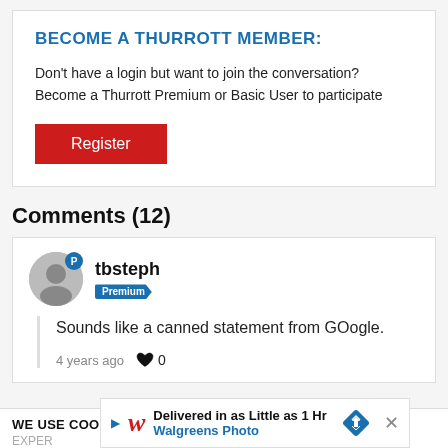BECOME A THURROTT MEMBER:
Don't have a login but want to join the conversation? Become a Thurrott Premium or Basic User to participate
[Figure (other): Red Register button]
Comments (12)
tbsteph - Premium user comment: Sounds like a canned statement from GOogle. - 4 years ago - 0 likes
WE USE COOKIES TO IMPROVE YOUR BROWSING EXPER... Find o...
[Figure (other): Walgreens Photo advertisement banner: Delivered in as Little as 1 Hr Walgreens Photo]